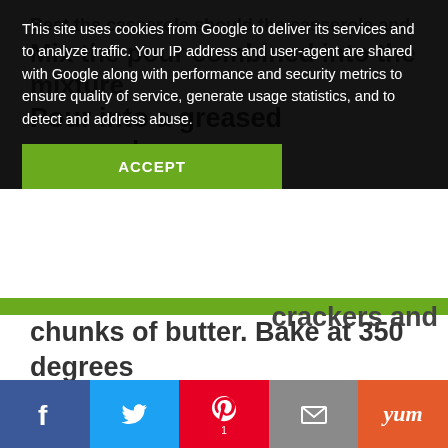Mix the pour combined into the mixture.  Pour into a greased casserole.
This site uses cookies from Google to deliver its services and to analyze traffic. Your IP address and user-agent are shared with Google along with performance and security metrics to ensure quality of service, generate usage statistics, and to detect and address abuse.
ACCEPT
crackers and chunks of butter.  Bake at 350 degrees for 45 min to 1 hour
[Figure (screenshot): Social sharing bar at the bottom with Facebook, Twitter, Pinterest, Email, and Yummly buttons]